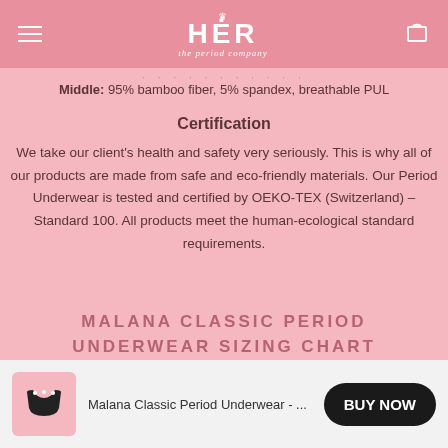HER the period company
Middle: 95% bamboo fiber, 5% spandex, breathable PUL
Certification
We take our client's health and safety very seriously. This is why all of our products are made from safe and eco-friendly materials. Our Period Underwear is tested and certified by OEKO-TEX (Switzerland) – Standard 100. All products meet the human-ecological standard requirements.
MALANA CLASSIC PERIOD UNDERWEAR SIZING CHART
Malana Classic Period Underwear - ...
BUY NOW